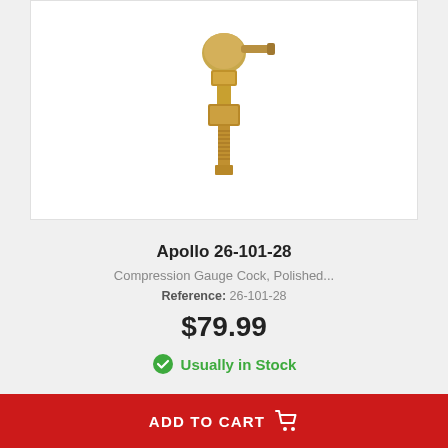[Figure (photo): Brass compression gauge cock valve fitting, polished brass with threaded fittings and side handle, photographed on white background]
Apollo 26-101-28
Compression Gauge Cock, Polished...
Reference: 26-101-28
$79.99
Usually in Stock
ADD TO CART